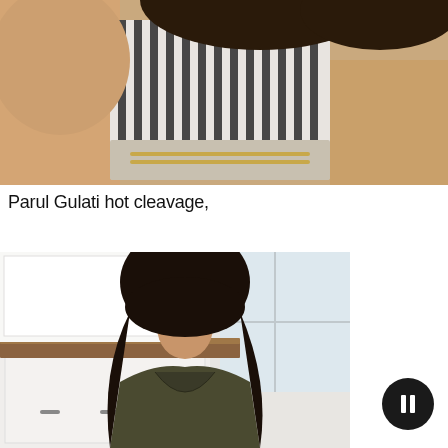[Figure (photo): Close-up photo of a woman wearing a black and white striped crop top, dark hair flowing, warm tan background]
Parul Gulati hot cleavage,
[Figure (photo): Photo of a young woman with long dark wavy hair, wearing a dark olive/green deep-V top, seated in a bright room with white cabinetry and a wooden shelf behind her]